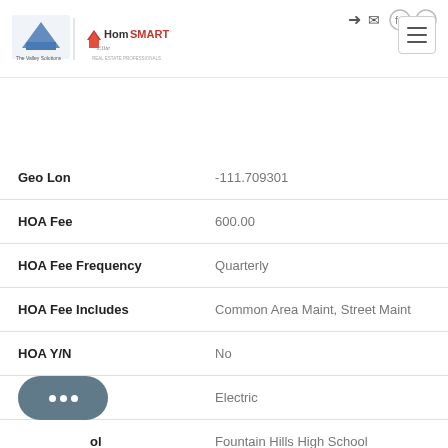Header with logo and navigation
| Field | Value |
| --- | --- |
| Geo Lon | -111.709301 |
| HOA Fee | 600.00 |
| HOA Fee Frequency | Quarterly |
| HOA Fee Includes | Common Area Maint, Street Maint |
| HOA Y/N | No |
| Heating | Electric |
| ...ol | Fountain Hills High School |
| Interior Features | 9+ Flat Ceilings, Elevator |